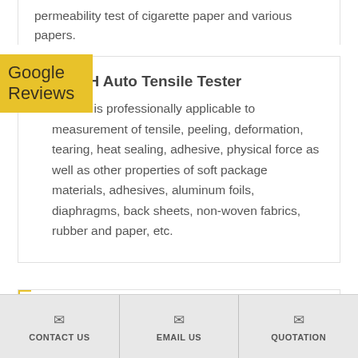permeability test of cigarette paper and various papers.
C610H Auto Tensile Tester
C610H is professionally applicable to measurement of tensile, peeling, deformation, tearing, heat sealing, adhesive, physical force as well as other properties of soft package materials, adhesives, aluminum foils, diaphragms, back sheets, non-woven fabrics, rubber and paper, etc.
CONTACT US | EMAIL US | QUOTATION